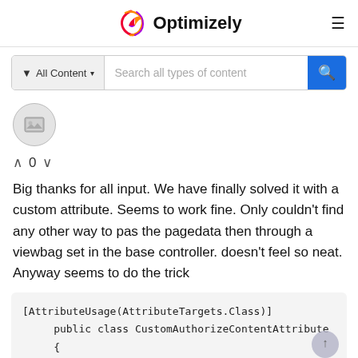Optimizely
[Figure (screenshot): Search bar with 'All Content' filter dropdown and 'Search all types of content' placeholder text, with blue search button]
[Figure (illustration): Circular avatar icon with image placeholder symbol]
^ 0 v
Big thanks for all input. We have finally solved it with a custom attribute. Seems to work fine. Only couldn't find any other way to pas the pagedata then through a viewbag set in the base controller. doesn't feel so neat. Anyway seems to do the trick
[AttributeUsage(AttributeTargets.Class)]
    public class CustomAuthorizeContentAttribute
    {